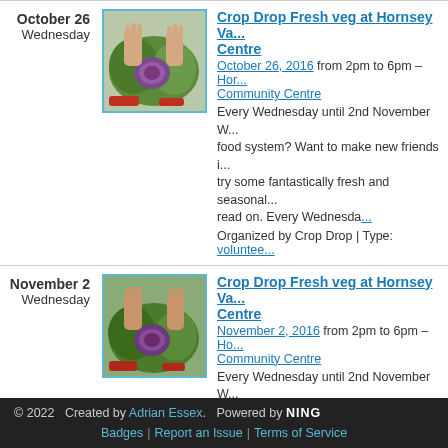October 26 Wednesday | Crop Drop Fresh veg at Hornsey Va... Centre | October 26, 2016 from 2pm to 6pm – Hornsey Community Centre | Every Wednesday until 2nd November W... food system? Want to make new friends i... try some fantastically fresh and seasonal... read on. Every Wednesda... | Organized by Crop Drop | Type: voluntee...
November 2 Wednesday | Crop Drop Fresh veg at Hornsey Va... Centre | November 2, 2016 from 2pm to 6pm – Hornsey Community Centre | Every Wednesday until 2nd November W... food system? Want to make new friends i... try some fantastically fresh and seasonal... read on. Every Wednesda... | Organized by Crop Drop | Type: voluntee...
© 2022   Created by Adrian Essex.   Powered by NING | Badges | Report an Issue | Terms of Service